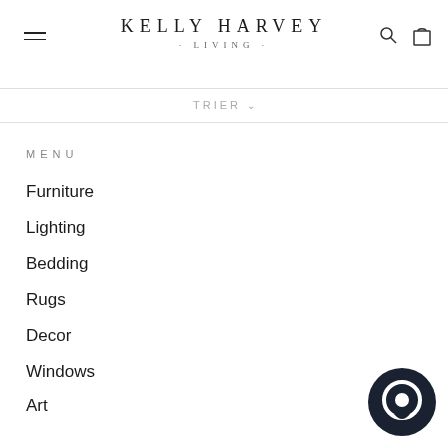KELLY HARVEY · LIVING ·
TRIER
MENU
Furniture
Lighting
Bedding
Rugs
Decor
Windows
Art
Custom Furniture
About KHL
[Figure (other): Chat bubble icon, dark navy circle with speech bubble]